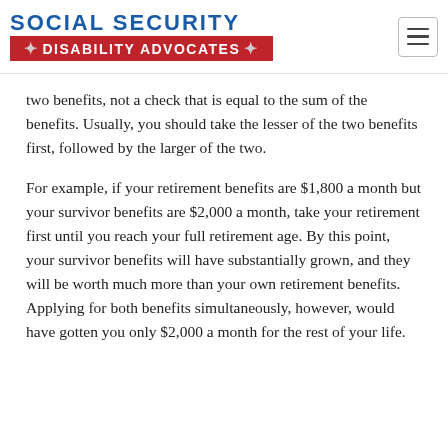SOCIAL SECURITY DISABILITY ADVOCATES
two benefits, not a check that is equal to the sum of the benefits. Usually, you should take the lesser of the two benefits first, followed by the larger of the two.
For example, if your retirement benefits are $1,800 a month but your survivor benefits are $2,000 a month, take your retirement first until you reach your full retirement age. By this point, your survivor benefits will have substantially grown, and they will be worth much more than your own retirement benefits. Applying for both benefits simultaneously, however, would have gotten you only $2,000 a month for the rest of your life.